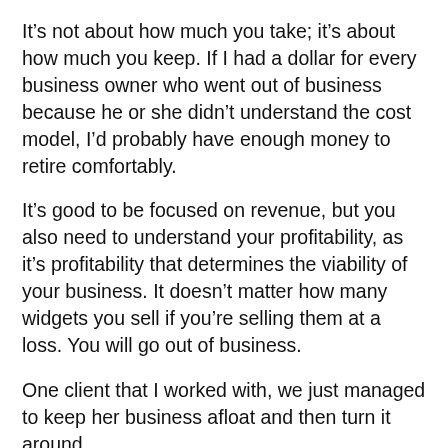It's not about how much you take; it's about how much you keep. If I had a dollar for every business owner who went out of business because he or she didn't understand the cost model, I'd probably have enough money to retire comfortably.
It's good to be focused on revenue, but you also need to understand your profitability, as it's profitability that determines the viability of your business. It doesn't matter how many widgets you sell if you're selling them at a loss. You will go out of business.
One client that I worked with, we just managed to keep her business afloat and then turn it around.
She first asked me to consult with her because she was taking $20,000 per month within just five months of starting her business, and she wanted to increase that to $40,000 because there was great demand…